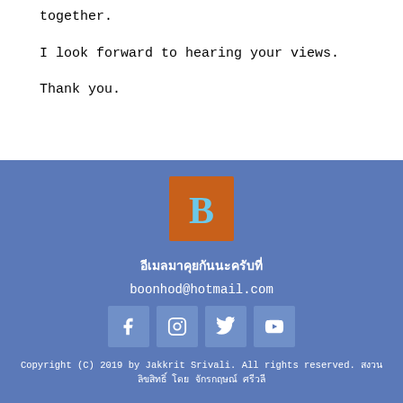together.
I look forward to hearing your views.
Thank you.
[Figure (logo): Letter B logo — orange square background with a cyan/light-blue bold serif B]
อีเมลมาคุยกันนะครับที่
boonhod@hotmail.com
[Figure (infographic): Four social media icon buttons (Facebook, Instagram, Twitter, YouTube) on a blue background]
Copyright (C) 2019 by Jakkrit Srivali. All rights reserved. สงวนลิขสิทธิ์ โดย จักรกฤษณ์ ศรีวลี